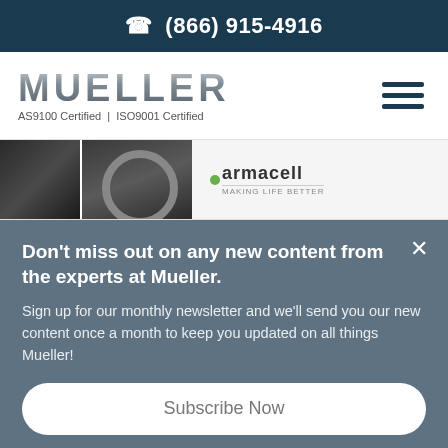☎ (866) 915-4916
[Figure (logo): Mueller company logo with text MUELLER in metallic silver letters, AS9100 Certified | ISO9001 Certified below]
[Figure (photo): Partial product image showing dark metallic components alongside armacell brand logo]
Don't miss out on any new content from the experts at Mueller.
Sign up for our monthly newsletter and we'll send you our new content once a month to keep you updated on all things Mueller!
Subscribe Now